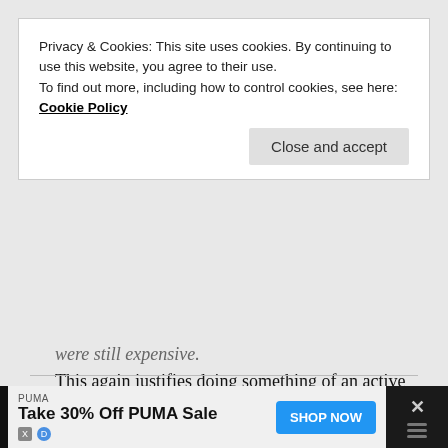Privacy & Cookies: This site uses cookies. By continuing to use this website, you agree to their use. To find out more, including how to control cookies, see here: Cookie Policy
Close and accept
were still expensive.
This again justifies doing something of an active and market-based leverage strategy: tapping the loan only when the assets down significantly. I will think about that and hopefully implement in a follow-up post! 🙂
Like
Reply
PUMA
Take 30% Off PUMA Sale
SHOP NOW